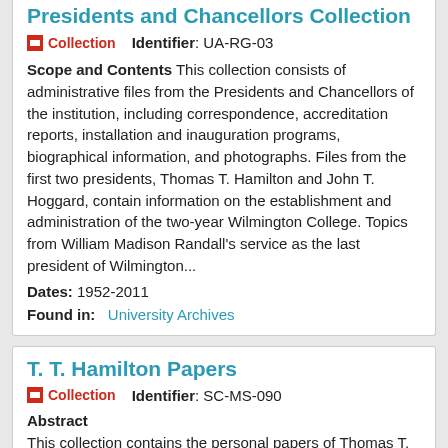Presidents and Chancellors Collection
Collection   Identifier: UA-RG-03
Scope and Contents This collection consists of administrative files from the Presidents and Chancellors of the institution, including correspondence, accreditation reports, installation and inauguration programs, biographical information, and photographs. Files from the first two presidents, Thomas T. Hamilton and John T. Hoggard, contain information on the establishment and administration of the two-year Wilmington College. Topics from William Madison Randall's service as the last president of Wilmington...
Dates: 1952-2011
Found in:  University Archives
T. T. Hamilton Papers
Collection   Identifier: SC-MS-090
Abstract
This collection contains the personal papers of Thomas T. Hamilton, first President of Wilmington